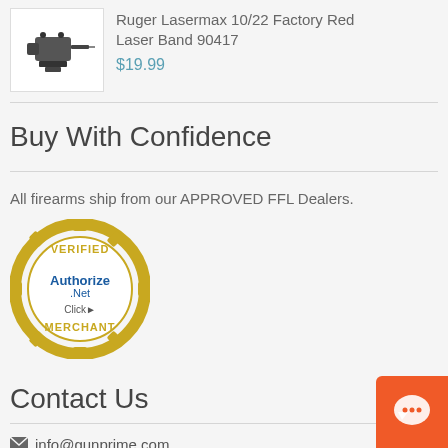[Figure (photo): Small dark metal firearm laser accessory/mount device on white background]
Ruger Lasermax 10/22 Factory Red Laser Band 90417
$19.99
Buy With Confidence
All firearms ship from our APPROVED FFL Dealers.
[Figure (logo): Authorize.Net Verified Merchant seal - circular gold badge with blue Authorize.Net Click text in center]
Contact Us
info@gunprime.com
[Figure (other): Orange chat/support button in bottom-right corner with speech bubble icon]